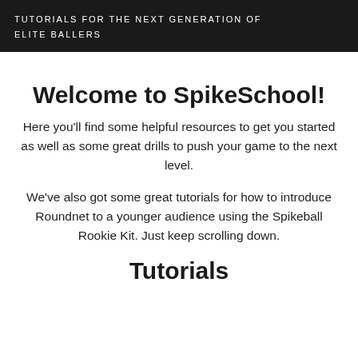TUTORIALS FOR THE NEXT GENERATION OF ELITE BALLERS
Welcome to SpikeSchool!
Here you'll find some helpful resources to get you started as well as some great drills to push your game to the next level.
We've also got some great tutorials for how to introduce Roundnet to a younger audience using the Spikeball Rookie Kit. Just keep scrolling down.
Tutorials